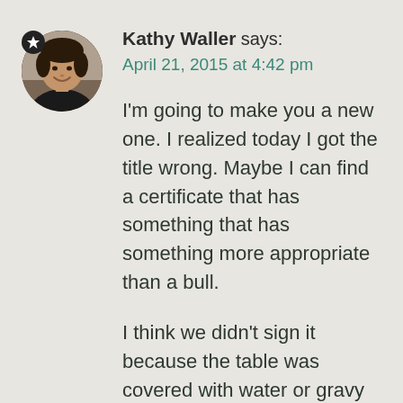[Figure (photo): Circular avatar photo of a woman with short dark hair, smiling, wearing a dark turtleneck. A small black circular badge with a white star is overlaid at the top-left of the avatar.]
Kathy Waller says:
April 21, 2015 at 4:42 pm
I'm going to make you a new one. I realized today I got the title wrong. Maybe I can find a certificate that has something that has something more appropriate than a bull.

I think we didn't sign it because the table was covered with water or gravy